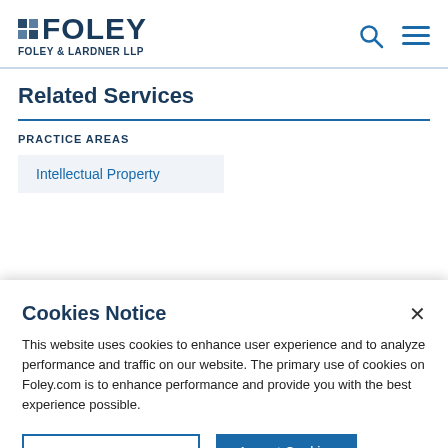[Figure (logo): Foley & Lardner LLP logo with blue squares and bold text]
Related Services
PRACTICE AREAS
Intellectual Property
Cookies Notice
This website uses cookies to enhance user experience and to analyze performance and traffic on our website. The primary use of cookies on Foley.com is to enhance performance and provide you with the best experience possible.
Manage Preferences
Accept Cookies